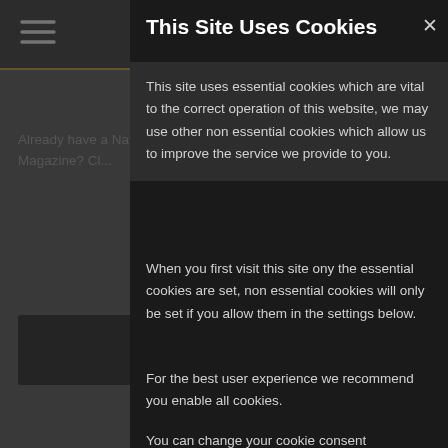Already have a National Geographic Magazine? Cl...
PRINT AND DI...
National Geographic 12 Issues One Year
RRP £83.00
£32.00
This Site Uses Cookies
This site uses essential cookies which are vital to the correct operation of this website, we may use other non essential cookies which allow us to improve the service we provide to you.
When you first visit this site ony the essential cookies are set, non essential cookies will only be set if you allow them in the settings below.
For the best user experience we recommend you enable all cookies.
You can change your cookie consent preferences at any time by using the 'Cookie Settings' menu option located at